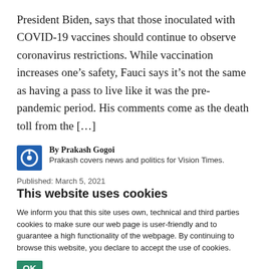President Biden, says that those inoculated with COVID-19 vaccines should continue to observe coronavirus restrictions. While vaccination increases one’s safety, Fauci says it’s not the same as having a pass to live like it was the pre-pandemic period. His comments come as the death toll from the […]
By Prakash Gogoi
Prakash covers news and politics for Vision Times.
Published: March 5, 2021
This website uses cookies
We inform you that this site uses own, technical and third parties cookies to make sure our web page is user-friendly and to guarantee a high functionality of the webpage. By continuing to browse this website, you declare to accept the use of cookies.
OK